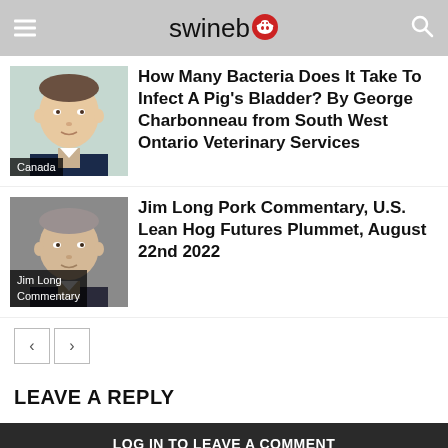swineweb
[Figure (photo): Headshot of a man in a suit, with 'Canada' tag label]
How Many Bacteria Does It Take To Infect A Pig's Bladder? By George Charbonneau from South West Ontario Veterinary Services
[Figure (photo): Headshot of a man, gray background, with 'Jim Long Commentary' tag label]
Jim Long Pork Commentary, U.S. Lean Hog Futures Plummet, August 22nd 2022
LEAVE A REPLY
LOG IN TO LEAVE A COMMENT
Translate Web in Your Language »